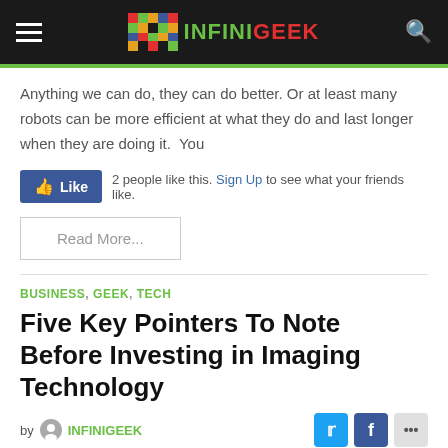INFINIGEEK
Anything we can do, they can do better. Or at least many robots can be more efficient at what they do and last longer when they are doing it.  You
2 people like this. Sign Up to see what your friends like.
Read More...
BUSINESS, GEEK, TECH
Five Key Pointers To Note Before Investing in Imaging Technology
by INFINIGEEK